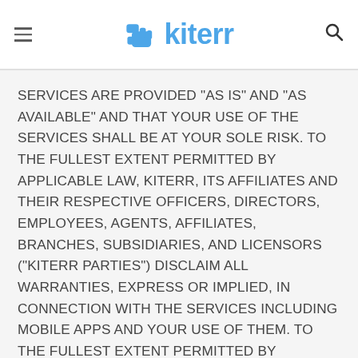kiterr
SERVICES ARE PROVIDED "AS IS" AND "AS AVAILABLE" AND THAT YOUR USE OF THE SERVICES SHALL BE AT YOUR SOLE RISK. TO THE FULLEST EXTENT PERMITTED BY APPLICABLE LAW, KITERR, ITS AFFILIATES AND THEIR RESPECTIVE OFFICERS, DIRECTORS, EMPLOYEES, AGENTS, AFFILIATES, BRANCHES, SUBSIDIARIES, AND LICENSORS ("KITERR PARTIES") DISCLAIM ALL WARRANTIES, EXPRESS OR IMPLIED, IN CONNECTION WITH THE SERVICES INCLUDING MOBILE APPS AND YOUR USE OF THEM. TO THE FULLEST EXTENT PERMITTED BY APPLICABLE LAW, THE